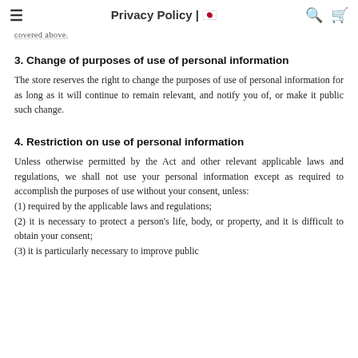Privacy Policy | 한국어
covered above.
3. Change of purposes of use of personal information
The store reserves the right to change the purposes of use of personal information for as long as it will continue to remain relevant, and notify you of, or make it public such change.
4. Restriction on use of personal information
Unless otherwise permitted by the Act and other relevant applicable laws and regulations, we shall not use your personal information except as required to accomplish the purposes of use without your consent, unless:
(1) required by the applicable laws and regulations;
(2) it is necessary to protect a person's life, body, or property, and it is difficult to obtain your consent;
(3) it is particularly necessary to improve public